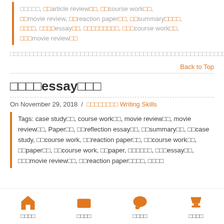□□□□□, □□article review□□, □□course work□□, □□movie review, □□reaction paper□□, □□summary□□□□, □□□□, □□□□essay□□, □□□□□□□□□, □□□course work□□, □□□movie review□□
□□□□□□□□□□□□□□□□□□□□□□□□□□□□□□□□□□□□□□□□□□□□□□□□□□□□□□□□□□□□□□□□□□□□□□□□□□□□□□□□□□□□□□□□□□□□□□□□□□□□□□ □□□□□ □□□□□□□□□□□□□□□□□□□□□□□□□□□□□□□□□
Back to Top
□□□□essay□□□
On November 29, 2018 / □□□□□□□□ Writing Skills
Tags: case study□□, course work□□, movie review□□, movie review□□, Paper□□, □□reflection essay□□, □□summary□□, □□case study, □□course work, □□reaction paper□□, □□course work□□, □□paper□□, □□course work, □□paper, □□□□□□, □□□essay□□, □□□movie review□□, □□reaction paper□□□□, □□□□
□□□□  □□□□  □□□□  □□□□